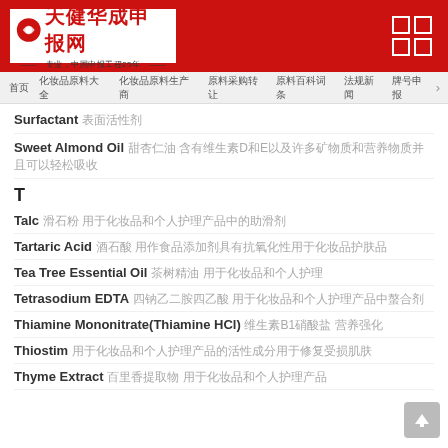天健华成申报网
首页 化妆品原料大全 化妆品原料生产商 原料采购转让 原料百科词条 法规新闻 牌号申报
Surfactant 表面活性剂
Sweet Almond Oil 甜杏仁油 含有维生素D和E以及许多矿物质和营养物质
T
Talc 滑石粉 用于化妆品和个人护理产品中
Tartaric Acid 酒石酸 用作食品添加剂具有抗氧化性用于化妆品
Tea Tree Essential Oil 茶树精油 用于化妆品和个人护理
Tetrasodium EDTA 四钠乙二胺四乙酸 用于化妆品和个人护理产品中
Thiamine Mononitrate(Thiamine HCl) 维生素B1硝酸盐 营养强化
Thiostim 用于化妆品和个人护理产品的活性成分
Thyme Extract 百里香提取物 用于化妆品和个人护理产品